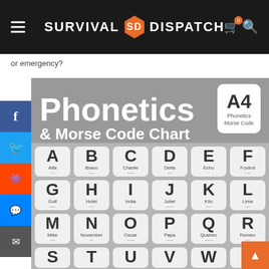Survival Dispatch
or emergency?
[Figure (infographic): Phonetics & Morse Code Chart infographic showing NATO alphabet letters A through X with phonetic names and Morse code dots/dashes for each letter, arranged in a grid with a grey background. Title reads 'Phonetics & Morse Code Chart' with an A4 badge.]